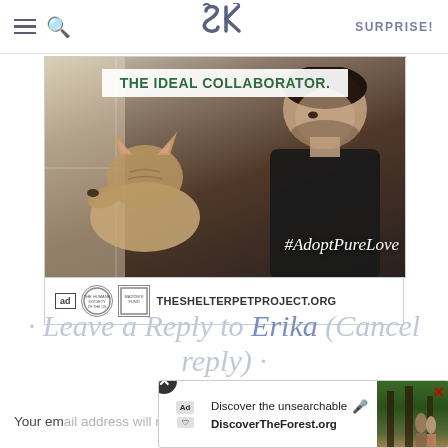SK — SURPRISE!
[Figure (photo): Ad image showing a man nuzzling a cat near a window with hashtag #AdoptPureLove, for TheShelterPetProject.org]
· Leave a Reply to Erika (Cancel reply) ·
Your email address will not be published. Required fields a...
[Figure (screenshot): Bottom advertisement banner: 'Discover the unsearchable' — DiscoverTheForest.org with forest photo]